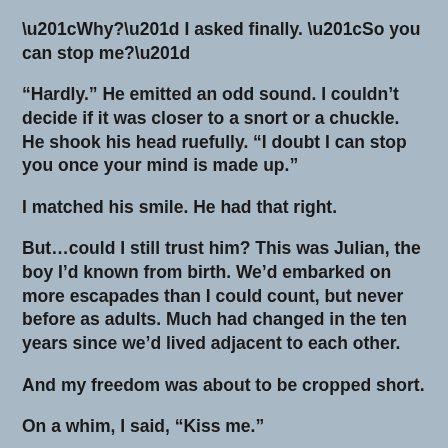“Why?” I asked finally. “So you can stop me?”
“Hardly.” He emitted an odd sound. I couldn’t decide if it was closer to a snort or a chuckle. He shook his head ruefully. “I doubt I can stop you once your mind is made up.”
I matched his smile. He had that right.
But…could I still trust him? This was Julian, the boy I’d known from birth. We’d embarked on more escapades than I could count, but never before as adults. Much had changed in the ten years since we’d lived adjacent to each other.
And my freedom was about to be cropped short.
On a whim, I said, “Kiss me.”